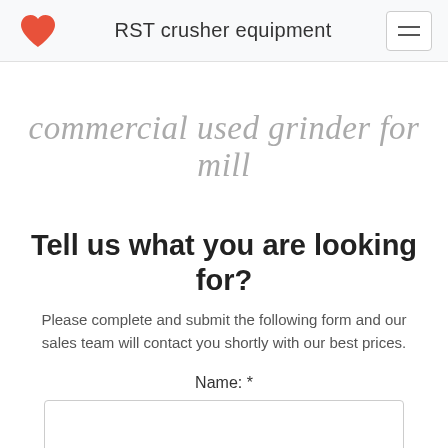RST crusher equipment
commercial used grinder for mill
Tell us what you are looking for?
Please complete and submit the following form and our sales team will contact you shortly with our best prices.
Name: *